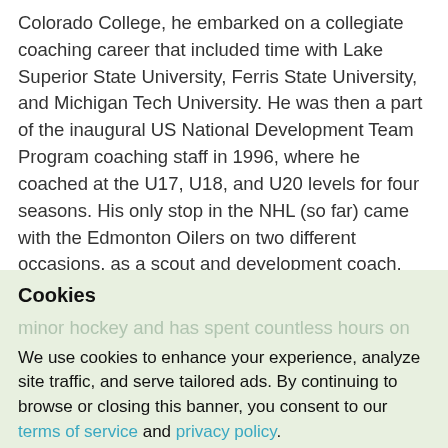Colorado College, he embarked on a collegiate coaching career that included time with Lake Superior State University, Ferris State University, and Michigan Tech University. He was then a part of the inaugural US National Development Team Program coaching staff in 1996, where he coached at the U17, U18, and U20 levels for four seasons. His only stop in the NHL (so far) came with the Edmonton Oilers on two different occasions, as a scout and development coach. He also spent three years as the Head Coach and General Manager of the Saginaw Spirit of the Ontario Hockey League. In addition to his pro and junior hockey experience, Mancini has ... minor hockey and has spent countless hours on ...
Cookies
We use cookies to enhance your experience, analyze site traffic, and serve tailored ads. By continuing to browse or closing this banner, you consent to our terms of service and privacy policy.
Accept Cookies